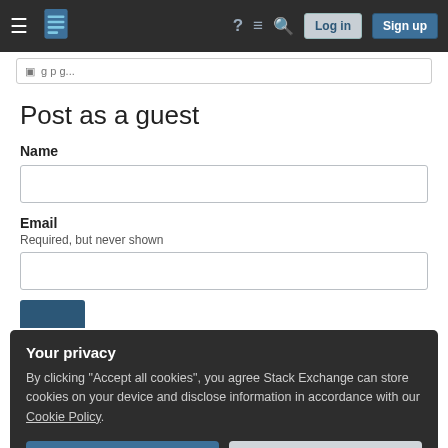Stack Exchange navigation bar with hamburger menu, logo, help, chat, search icons, Log in and Sign up buttons
Post as a guest
Name
Email
Required, but never shown
Your privacy
By clicking "Accept all cookies", you agree Stack Exchange can store cookies on your device and disclose information in accordance with our Cookie Policy.
Accept all cookies
Customize settings